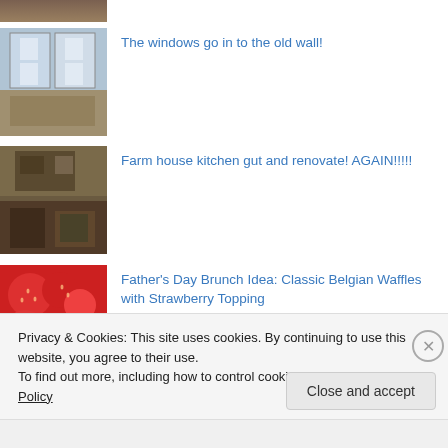[Figure (photo): Partial thumbnail of a house/building image at top, cropped]
[Figure (photo): Photo of windows being installed into an old wall]
The windows go in to the old wall!
[Figure (photo): Photo of a farmhouse kitchen being gutted and renovated]
Farm house kitchen gut and renovate! AGAIN!!!!!
[Figure (photo): Photo of strawberries with red berries]
Father's Day Brunch Idea: Classic Belgian Waffles with Strawberry Topping
Privacy & Cookies: This site uses cookies. By continuing to use this website, you agree to their use.
To find out more, including how to control cookies, see here: Cookie Policy
Close and accept